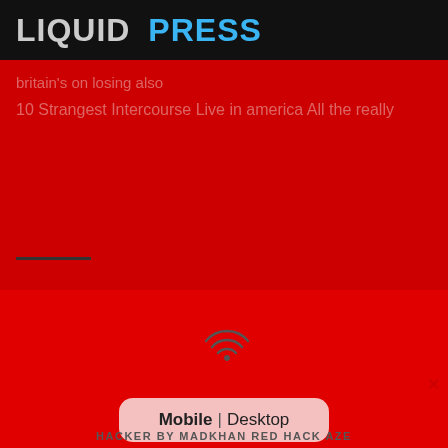LIQUID PRESS
britain's on losing also
10 Strangest Intercourse Live in america All the really
[Figure (other): RSS/WiFi icon in center of red section]
Mobile | Desktop
HACKER BY MADKHAN RED HACK AZE